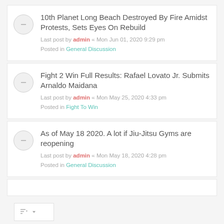10th Planet Long Beach Destroyed By Fire Amidst Protests, Sets Eyes On Rebuild
Last post by admin « Mon Jun 01, 2020 9:29 pm
Posted in General Discussion
Fight 2 Win Full Results: Rafael Lovato Jr. Submits Arnaldo Maidana
Last post by admin « Mon May 25, 2020 4:33 pm
Posted in Fight To Win
As of May 18 2020. A lot if Jiu-Jitsu Gyms are reopening
Last post by admin « Mon May 18, 2020 4:28 pm
Posted in General Discussion
Search found 41 matches  1  2  >